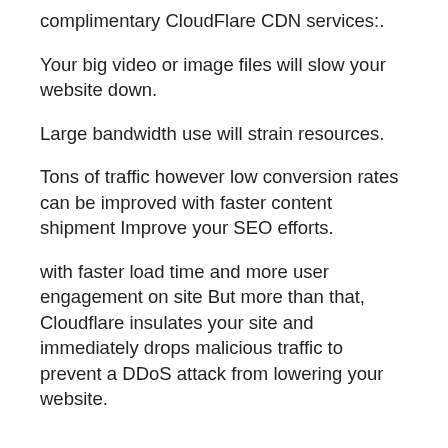complimentary CloudFlare CDN services:.
Your big video or image files will slow your website down.
Large bandwidth use will strain resources.
Tons of traffic however low conversion rates can be improved with faster content shipment Improve your SEO efforts.
with faster load time and more user engagement on site But more than that, Cloudflare insulates your site and immediately drops malicious traffic to prevent a DDoS attack from lowering your website.